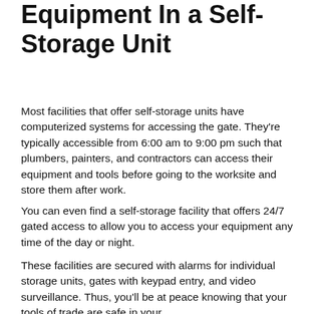Equipment In a Self-Storage Unit
Most facilities that offer self-storage units have computerized systems for accessing the gate. They're typically accessible from 6:00 am to 9:00 pm such that plumbers, painters, and contractors can access their equipment and tools before going to the worksite and store them after work.
You can even find a self-storage facility that offers 24/7 gated access to allow you to access your equipment any time of the day or night.
These facilities are secured with alarms for individual storage units, gates with keypad entry, and video surveillance. Thus, you'll be at peace knowing that your tools of trade are safe in your